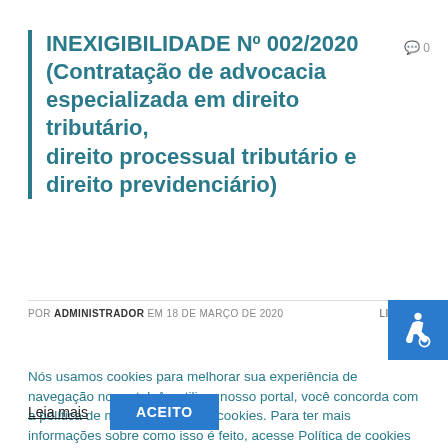INEXIGIBILIDADE Nº 002/2020 (Contratação de advocacia especializada em direito tributário, direito processual tributário e direito previdenciário)
POR ADMINISTRADOR EM 18 DE MARÇO DE 2020   LICITAÇÃO
Nós usamos cookies para melhorar sua experiência de navegação no portal. Ao utilizar nosso portal, você concorda com a política de monitoramento de cookies. Para ter mais informações sobre como isso é feito, acesse Política de cookies (Leia mais). Se você concorda, clique em ACEITO.
Leia mais   ACEITO